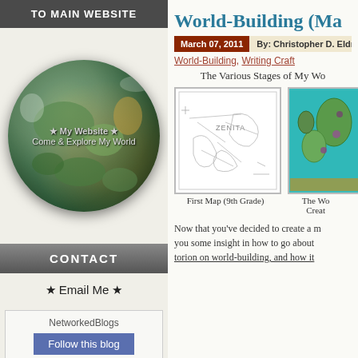TO MAIN WEBSITE
[Figure (illustration): Globe/Earth image with text 'My Website' and 'Come & Explore My World']
CONTACT
★ Email Me ★
[Figure (other): NetworkedBlogs widget with 'Follow this blog' button]
World-Building (Ma...
March 07, 2011   By: Christopher D. Eldrid...
World-Building, Writing Craft
The Various Stages of My Wo...
[Figure (map): Hand-drawn pencil map of a fantasy world labeled ZENITA]
[Figure (map): Colorful digital fantasy map with teal/turquoise background]
First Map (9th Grade)
The Wo... Creat...
Now that you've decided to create a m... you some insight in how to go about... torion on world-building, and how it...